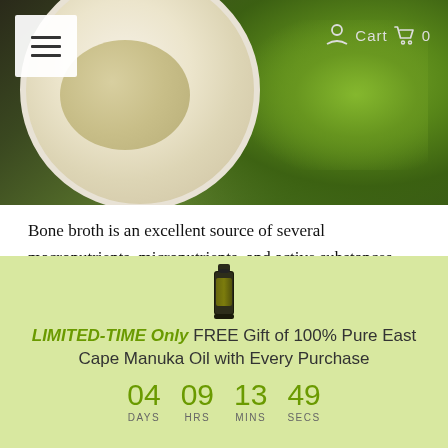[Figure (photo): Header photo of a white cup of creamy soup or broth surrounded by fresh green herbs on a dark background, with hamburger menu icon in top-left and cart icon in top-right]
Bone broth is an excellent source of several macronutrients, micronutrients, and active substances. It's a lip-smacking drink with lots of benefits if consumed regularly. Thus it has become very popular as a health drink. In this article, let's discuss the scientifically proven benefits of bone broth and how to choose the best one. Let's go!
A lot of bone broth...
[Figure (photo): Small dark bottle of 100% Pure East Cape Manuka Oil product]
LIMITED-TIME Only FREE Gift of 100% Pure East Cape Manuka Oil with Every Purchase
04 DAYS  09 HRS  13 MINS  49 SECS